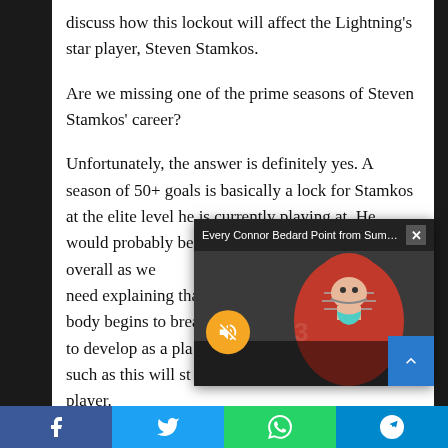discuss how this lockout will affect the Lightning's star player, Steven Stamkos.
Are we missing one of the prime seasons of Steven Stamkos' career?
Unfortunately, the answer is definitely yes. A season of 50+ goals is basically a lock for Stamkos at the elite level he is currently playing at. He would probably be around 40 assists and 100 points overall as well. Stamkos is at the age where all need explaining that... body begins to brea... to develop as a play... such as this will stu... player.
[Figure (screenshot): Video overlay popup titled 'Every Connor Bedard Point from Summ...' showing a hockey player in a red jersey with a cage helmet, with a scoreboard showing GOAL, a mute button (orange circle with speaker-off icon), a close button (×), and a scroll-up button (blue, right side).]
Social share bar: Facebook, Twitter, WhatsApp, Telegram